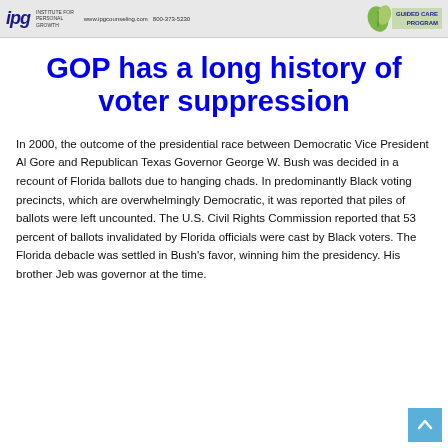IPG Institute for Personal Growth | www.ipgcounseling.com 800-373-5230 | GUIDED CARE PROGRAM
GOP has a long history of voter suppression
In 2000, the outcome of the presidential race between Democratic Vice President Al Gore and Republican Texas Governor George W. Bush was decided in a recount of Florida ballots due to hanging chads. In predominantly Black voting precincts, which are overwhelmingly Democratic, it was reported that piles of ballots were left uncounted. The U.S. Civil Rights Commission reported that 53 percent of ballots invalidated by Florida officials were cast by Black voters. The Florida debacle was settled in Bush's favor, winning him the presidency. His brother Jeb was governor at the time.